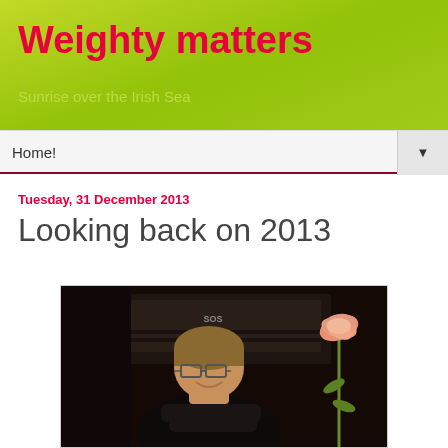Weighty matters
Sunrise over the Irish Sea
Home! ▼
Tuesday, 31 December 2013
Looking back on 2013
[Figure (photo): Woman with glasses, arms crossed, smiling, seated in front of audio equipment (SOS branded case), with a pink carnation flower in the foreground right]